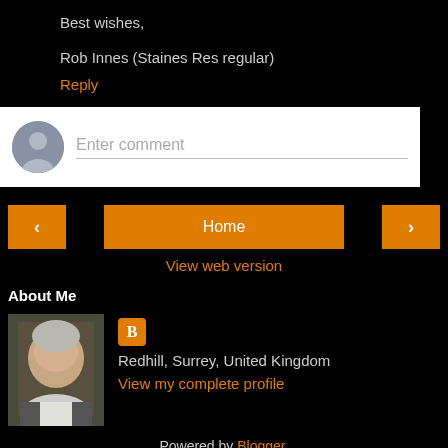Best wishes,
Rob Innes (Staines Res regular)
Reply
[Figure (other): Comment input box with avatar placeholder and 'Enter comment' placeholder text]
[Figure (other): Navigation buttons: left arrow, Home, right arrow]
View web version
About Me
[Figure (photo): Profile photo of a middle-aged man with gray hair]
Redhill, Surrey, United Kingdom
View my complete profile
Powered by Blogger.